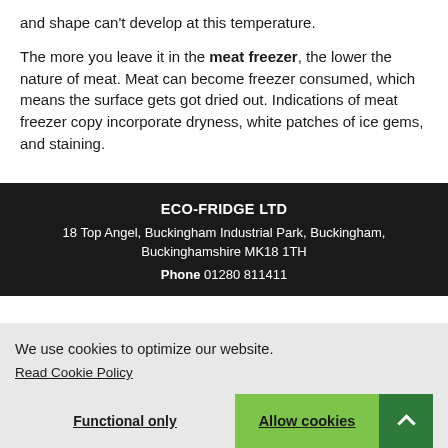and shape can't develop at this temperature.
The more you leave it in the meat freezer, the lower the nature of meat. Meat can become freezer consumed, which means the surface gets got dried out. Indications of meat freezer copy incorporate dryness, white patches of ice gems, and staining.
ECO-FRIDGE LTD
18 Top Angel, Buckingham Industrial Park, Buckingham, Buckinghamshire MK18 1TH
Phone 01280 811411
We use cookies to optimize our website.
Read Cookie Policy
Functional only | Allow cookies